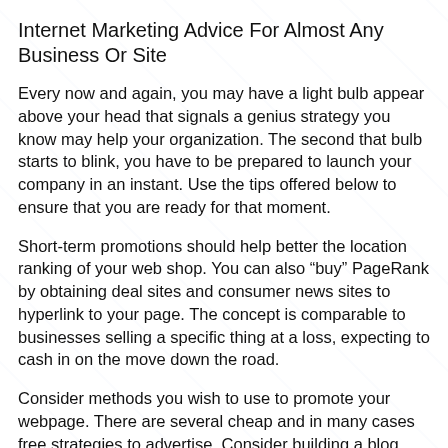Internet Marketing Advice For Almost Any Business Or Site
Every now and again, you may have a light bulb appear above your head that signals a genius strategy you know may help your organization. The second that bulb starts to blink, you have to be prepared to launch your company in an instant. Use the tips offered below to ensure that you are ready for that moment.
Short-term promotions should help better the location ranking of your web shop. You can also “buy” PageRank by obtaining deal sites and consumer news sites to hyperlink to your page. The concept is comparable to businesses selling a specific thing at a loss, expecting to cash in on the move down the road.
Consider methods you wish to use to promote your webpage. There are several cheap and in many cases free strategies to advertise. Consider building a blog, setting up posters containing your site’s URL, or try to generate a social networking page. There are plenty different tactics to draw